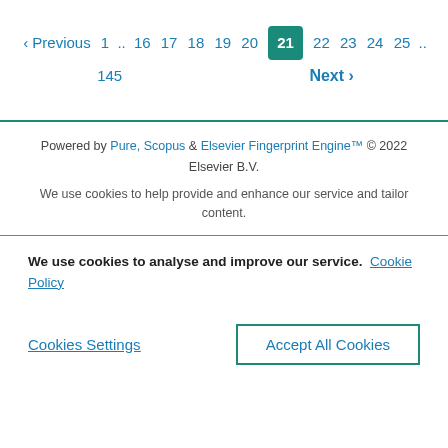‹ Previous  1 .. 16  17  18  19  20  21  22  23  24  25 ..  145  Next ›
Powered by Pure, Scopus & Elsevier Fingerprint Engine™ © 2022 Elsevier B.V.
We use cookies to help provide and enhance our service and tailor content.
We use cookies to analyse and improve our service. Cookie Policy
Cookies Settings
Accept All Cookies